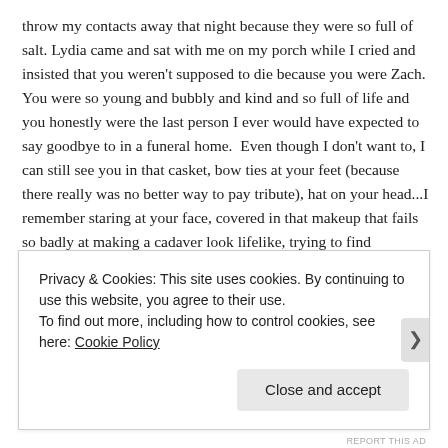throw my contacts away that night because they were so full of salt. Lydia came and sat with me on my porch while I cried and insisted that you weren't supposed to die because you were Zach. You were so young and bubbly and kind and so full of life and you honestly were the last person I ever would have expected to say goodbye to in a funeral home. Even though I don't want to, I can still see you in that casket, bow ties at your feet (because there really was no better way to pay tribute), hat on your head...I remember staring at your face, covered in that makeup that fails so badly at making a cadaver look lifelike, trying to find something that was you...I was in shock and denial and told myself there was no way that was you lying there. I remember looking at your hands and for some reason that triggered
Privacy & Cookies: This site uses cookies. By continuing to use this website, you agree to their use.
To find out more, including how to control cookies, see here: Cookie Policy
Close and accept
REPORT THIS AD